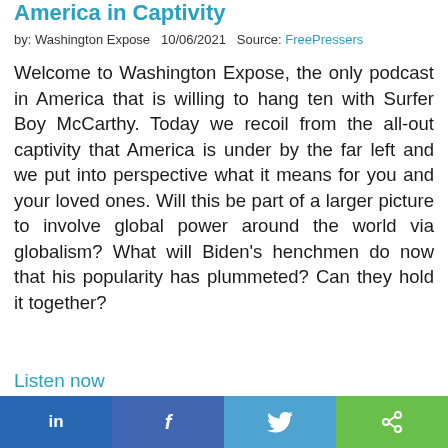America in Captivity
by: Washington Expose   10/06/2021   Source: FreePressers
Welcome to Washington Expose, the only podcast in America that is willing to hang ten with Surfer Boy McCarthy. Today we recoil from the all-out captivity that America is under by the far left and we put into perspective what it means for you and your loved ones. Will this be part of a larger picture to involve global power around the world via globalism? What will Biden’s henchmen do now that his popularity has plummeted? Can they hold it together?
Listen now
[Figure (photo): Partial photo strip visible at bottom of article]
[Figure (infographic): Social media share bar with LinkedIn, Facebook, Twitter, and share buttons]